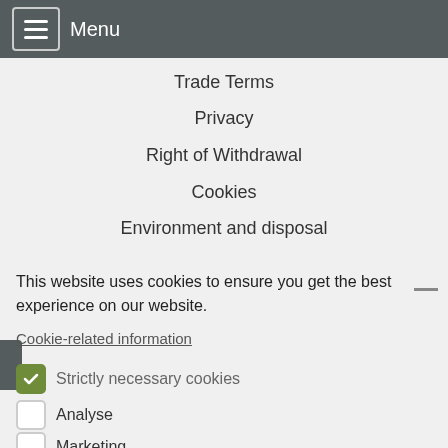Menu
Trade Terms
Privacy
Right of Withdrawal
Cookies
Environment and disposal
This website uses cookies to ensure you get the best experience on our website.
Cookie-related information
Strictly necessary cookies
Analyse
Marketing
Accept all
Save
Magnifiers FAQ